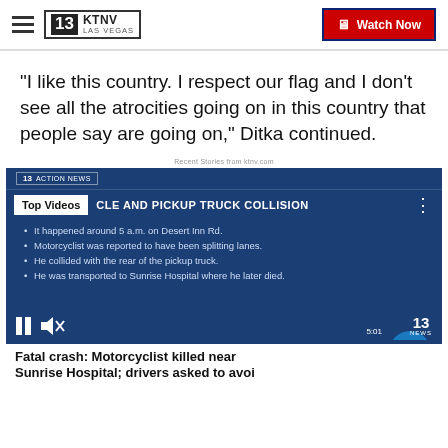KTNV LAS VEGAS | Watch Now
"I like this country. I respect our flag and I don't see all the atrocities going on in this country that people say are going on," Ditka continued.
Recent Stories from ktnv.com
[Figure (screenshot): Video player screenshot showing KTNV 13 Action News Top Videos panel with dark blue background. Headline: 'CLE AND PICKUP TRUCK COLLISION'. Bullet points: It happened around 5 a.m. on Desert Inn Rd. / Motorcyclist was reported to have been splitting lanes. / He collided with the rear of the pickup truck. / He was transported to Sunrise Hospital where he later died. Controls show pause and mute icons. Bottom caption: 'Fatal crash: Motorcyclist killed near Sunrise Hospital; drivers asked to avoi...']